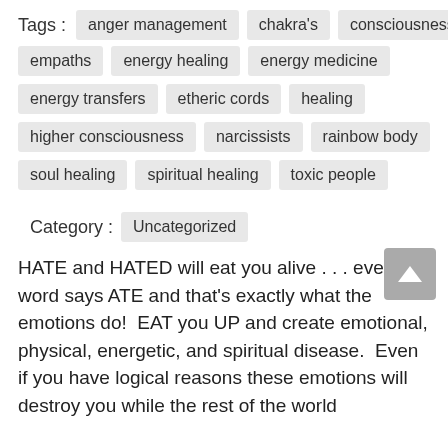Tags: anger management  chakra's  consciousness
empaths  energy healing  energy medicine
energy transfers  etheric cords  healing
higher consciousness  narcissists  rainbow body
soul healing  spiritual healing  toxic people
Category: Uncategorized
HATE and HATED will eat you alive . . . even the word says ATE and that's exactly what the emotions do!  EAT you UP and create emotional, physical, energetic, and spiritual disease.  Even if you have logical reasons these emotions will destroy you while the rest of the world